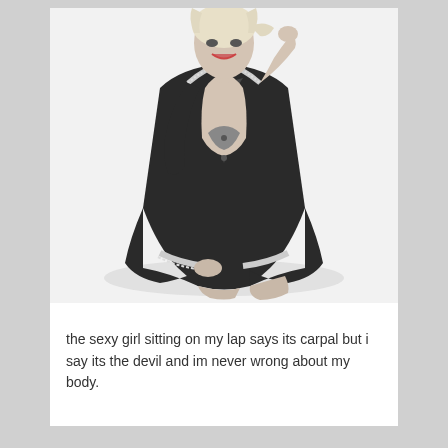[Figure (photo): Black and white photograph of a woman with blonde hair sitting cross-legged on the floor, wearing a dark satin robe with lace trim open to reveal a bra underneath, smiling and posing with one hand near her head.]
the sexy girl sitting on my lap says its carpal but i say its the devil and im never wrong about my body.